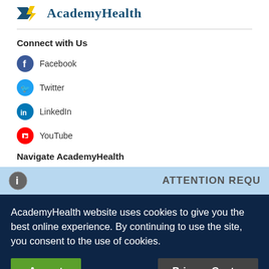[Figure (logo): AcademyHealth logo with blue arrow and yellow lightning bolt icons]
Connect with Us
Facebook
Twitter
LinkedIn
YouTube
Navigate AcademyHealth
Evidence
ATTENTION REQU
AcademyHealth website uses cookies to give you the best online experience. By continuing to use the site, you consent to the use of cookies.
Accept
Privacy Center
Extras